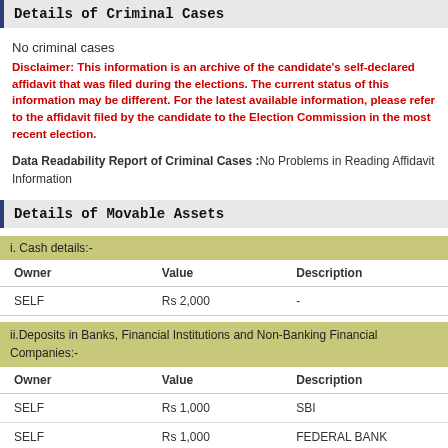Details of Criminal Cases
No criminal cases
Disclaimer: This information is an archive of the candidate’s self-declared affidavit that was filed during the elections. The current status of this information may be different. For the latest available information, please refer to the affidavit filed by the candidate to the Election Commission in the most recent election.
Data Readability Report of Criminal Cases :No Problems in Reading Affidavit Information
Details of Movable Assets
i. Cash details:-
| Owner | Value | Description |
| --- | --- | --- |
| SELF | Rs 2,000 | - |
ii.Deposits in Banks, Financial Institutions and Non-Banking Financial Companies:-
| Owner | Value | Description |
| --- | --- | --- |
| SELF | Rs 1,000 | SBI |
| SELF | Rs 1,000 | FEDERAL BANK |